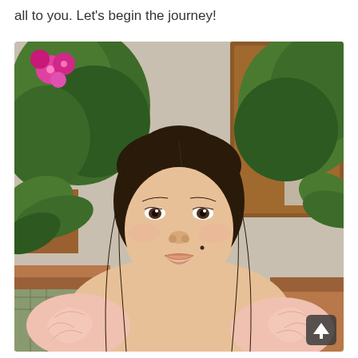all to you. Let's begin the journey!
[Figure (photo): A young woman with long dark hair wearing a light pink ruffled top, seated outdoors in front of lush green ferns, pink flowers, and a wooden frame structure. A scroll-up arrow button appears in the bottom right corner of the image.]